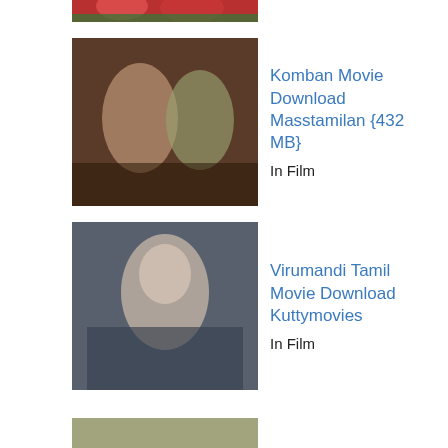[Figure (photo): Partial movie thumbnail at top (cropped, showing flowers/red colors)]
[Figure (photo): Komban movie thumbnail showing two actors]
Komban Movie Download Masstamilan {432 MB}
In Film
[Figure (photo): Virumandi movie thumbnail showing male actor]
Virumandi Tamil Movie Download Kuttymovies
In Film
[Figure (photo): Geetha Govindam movie thumbnail showing two actors]
Geetha Govindam Movie Hindi Download Telegram {590 MB}
In Film
Race 3 Full Movie Download Pagalmovies HD {618 MB}